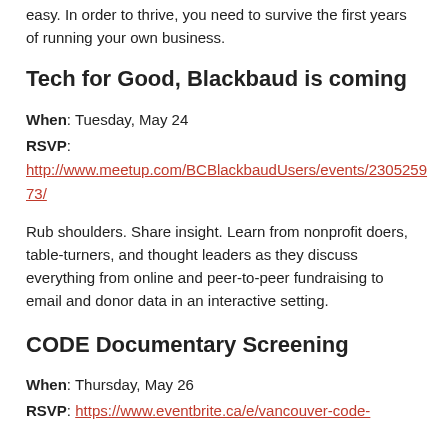easy. In order to thrive, you need to survive the first years of running your own business.
Tech for Good, Blackbaud is coming
When: Tuesday, May 24
RSVP:
http://www.meetup.com/BCBlackbaudUsers/events/23052597 3/
Rub shoulders. Share insight. Learn from nonprofit doers, table-turners, and thought leaders as they discuss everything from online and peer-to-peer fundraising to email and donor data in an interactive setting.
CODE Documentary Screening
When: Thursday, May 26
RSVP: https://www.eventbrite.ca/e/vancouver-code-